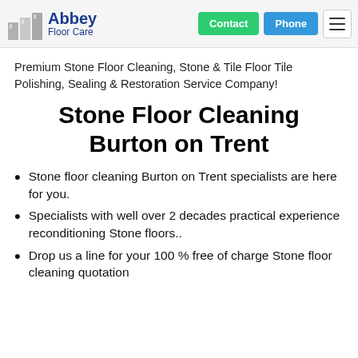Abbey Floor Care — Contact | Phone | Menu
Premium Stone Floor Cleaning, Stone & Tile Floor Tile Polishing, Sealing & Restoration Service Company!
Stone Floor Cleaning Burton on Trent
Stone floor cleaning Burton on Trent specialists are here for you.
Specialists with well over 2 decades practical experience reconditioning Stone floors..
Drop us a line for your 100 % free of charge Stone floor cleaning quotation